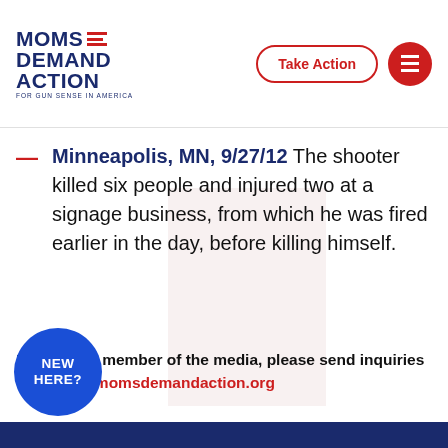[Figure (logo): Moms Demand Action for Gun Sense in America logo with red horizontal lines and blue text]
Minneapolis, MN, 9/27/12 The shooter killed six people and injured two at a signage business, from which he was fired earlier in the day, before killing himself.
If you are a member of the media, please send inquiries to media@momsdemandaction.org